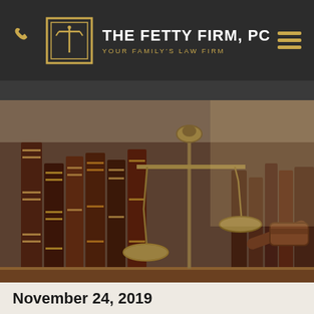THE FETTY FIRM, PC — YOUR FAMILY'S LAW FIRM
[Figure (photo): Photo of scales of justice, law books, and a wooden gavel on a shelf]
November 24, 2019